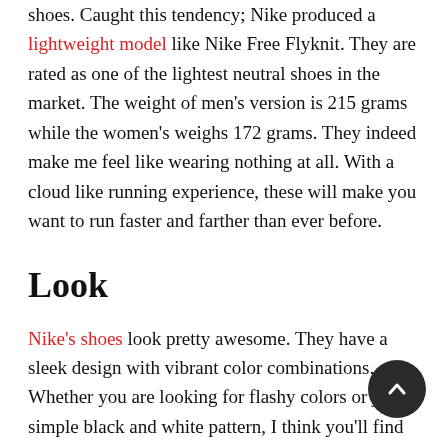shoes. Caught this tendency; Nike produced a lightweight model like Nike Free Flyknit. They are rated as one of the lightest neutral shoes in the market. The weight of men's version is 215 grams while the women's weighs 172 grams. They indeed make me feel like wearing nothing at all. With a cloud like running experience, these will make you want to run faster and farther than ever before.
Look
Nike's shoes look pretty awesome. They have a sleek design with vibrant color combinations. Whether you are looking for flashy colors or just a simple black and white pattern, I think you'll find what you are looking for among numerous options. With a cross-marked